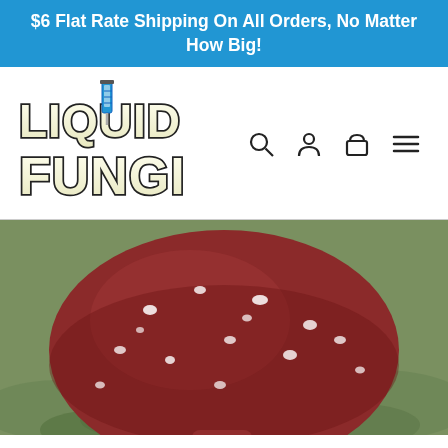$6 Flat Rate Shipping On All Orders, No Matter How Big!
[Figure (logo): Liquid Fungi logo with stylized block letters and a syringe replacing the 'i' in LIQUID]
[Figure (illustration): Navigation icons: search magnifying glass, user/person icon, shopping bag/cart icon, hamburger menu icon]
[Figure (photo): Close-up photograph of a reddish-brown mushroom cap with white spots, viewed from above against a blurred green background]